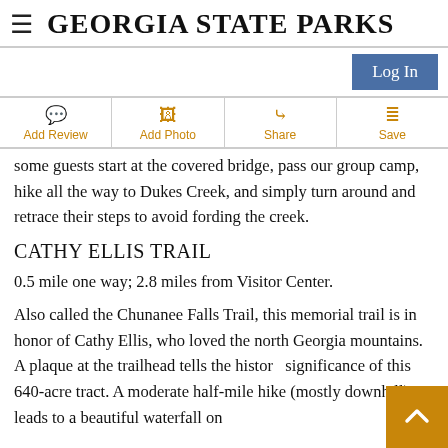GEORGIA STATE PARKS
some guests start at the covered bridge, pass our group camp, hike all the way to Dukes Creek, and simply turn around and retrace their steps to avoid fording the creek.
CATHY ELLIS TRAIL
0.5 mile one way; 2.8 miles from Visitor Center.
Also called the Chunanee Falls Trail, this memorial trail is in honor of Cathy Ellis, who loved the north Georgia mountains. A plaque at the trailhead tells the historical significance of this 640-acre tract. A moderate half-mile hike (mostly downhill) leads to a beautiful waterfall on